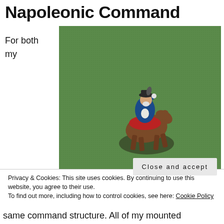Napoleonic Command
For both my
[Figure (photo): A miniature painted figurine of a Napoleonic officer on horseback, photographed from above against a green background. The rider wears a blue jacket and bicorne hat, seated on a brown horse with red saddle cloth.]
Privacy & Cookies: This site uses cookies. By continuing to use this website, you agree to their use.
To find out more, including how to control cookies, see here: Cookie Policy
Close and accept
same command structure. All of my mounted